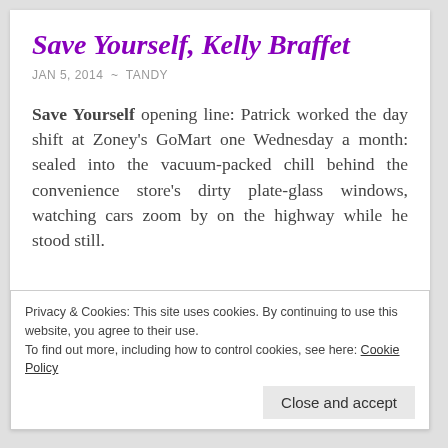Save Yourself, Kelly Braffet
JAN 5, 2014  ~  TANDY
Save Yourself opening line: Patrick worked the day shift at Zoney's GoMart one Wednesday a month: sealed into the vacuum-packed chill behind the convenience store's dirty plate-glass windows, watching cars zoom by on the highway while he stood still.
Privacy & Cookies: This site uses cookies. By continuing to use this website, you agree to their use.
To find out more, including how to control cookies, see here: Cookie Policy
Close and accept